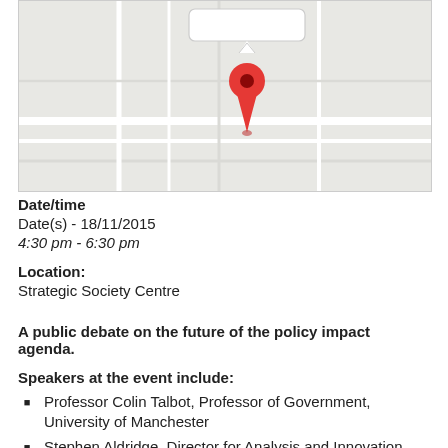[Figure (map): Google Maps-style map with a red location pin marker and a white tooltip/callout bubble above it. The map background is light grey/beige.]
Date/time
Date(s) - 18/11/2015
4:30 pm - 6:30 pm
Location:
Strategic Society Centre
A public debate on the future of the policy impact agenda.
Speakers at the event include:
Professor Colin Talbot, Professor of Government, University of Manchester
Stephen Aldridge, Director for Analysis and Innovation, DCLG